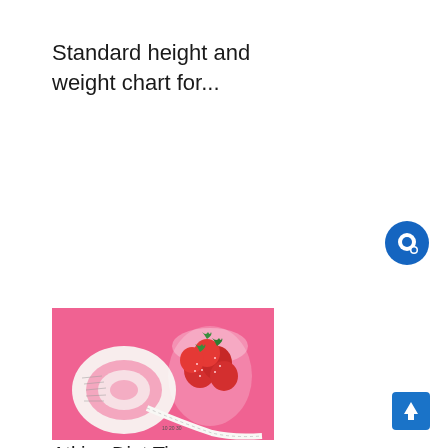Standard height and weight chart for...
[Figure (illustration): Blue circular chat/message icon button on white background]
[Figure (photo): Photo of a pink background with a rolled measuring tape and a glass bowl filled with fresh red strawberries]
Atkins Diet Tips